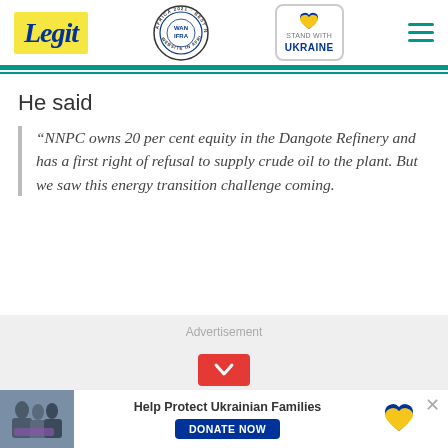Legit — Best News Website in Africa 2021 WAN-IFRA | Stand With Ukraine
He said
“NNPC owns 20 per cent equity in the Dangote Refinery and has a first right of refusal to supply crude oil to the plant. But we saw this energy transition challenge coming.
Advertisement
[Figure (photo): Bottom banner ad showing people helping Ukrainian refugees, with text 'Help Protect Ukrainian Families' and a DONATE NOW button]
Help Protect Ukrainian Families DONATE NOW